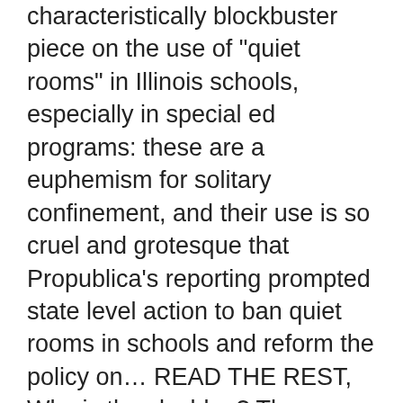characteristically blockbuster piece on the use of "quiet rooms" in Illinois schools, especially in special ed programs: these are a euphemism for solitary confinement, and their use is so cruel and grotesque that Propublica's reporting prompted state level action to ban quiet rooms in schools and reform the policy on… READ THE REST, Why is the sky blue? The men were captured and gruesomely executed in front of a crowd of gawkers. Who will be eaten first? Sculpin - Grapefruit is a American IPA style beer brewed by Ballast Point Brewing Company in San Diego, CA. John Yoo is the Bush administration lawyer who authored its legal excuses for torturing prisoners. Sentenced to be hanged, drawn and quartered While Fawkes was at the Tower, the other conspirators fled to the Midlands. Men were en Route by...